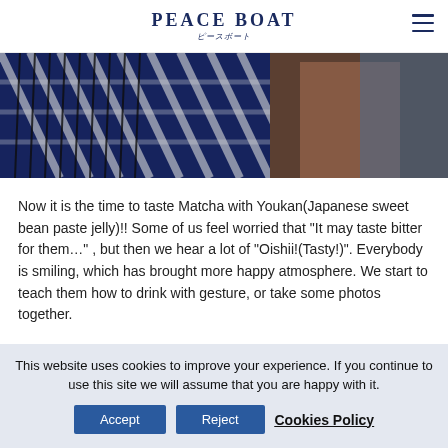PEACE BOAT
[Figure (photo): Person weaving at a loom, wearing a blue and white patterned kimono-style garment, working with dark threads on a traditional weaving frame.]
Now it is the time to taste Matcha with Youkan(Japanese sweet bean paste jelly)!! Some of us feel worried that “It may taste bitter for them…” , but then we hear a lot of “Oishii!(Tasty!)”. Everybody is smiling, which has brought more happy atmosphere. We start to teach them how to drink with gesture, or take some photos together.
[Figure (photo): Partial view of colorful artwork or textile with yellow, blue, red/orange bands and a small dark figure visible in the middle section.]
This website uses cookies to improve your experience. If you continue to use this site we will assume that you are happy with it.